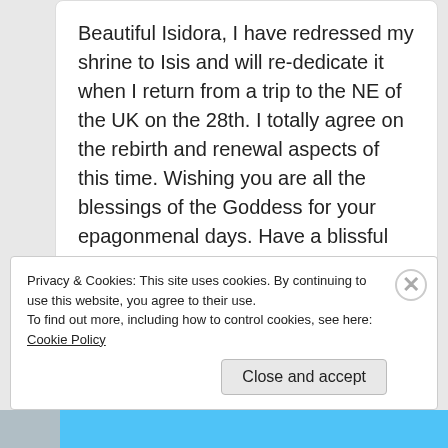Beautiful Isidora, I have redressed my shrine to Isis and will re-dedicate it when I return from a trip to the NE of the UK on the 28th. I totally agree on the rebirth and renewal aspects of this time. Wishing you are all the blessings of the Goddess for your epagonmenal days. Have a blissful time.
Reply
Privacy & Cookies: This site uses cookies. By continuing to use this website, you agree to their use.
To find out more, including how to control cookies, see here: Cookie Policy
Close and accept